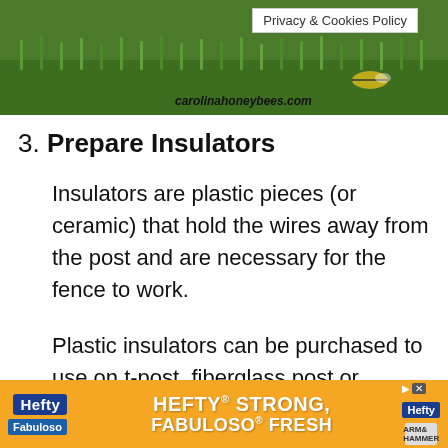[Figure (photo): Green grass background image with carolinahoneybees.com watermark and Privacy & Cookies Policy badge overlay]
3. Prepare Insulators
Insulators are plastic pieces (or ceramic) that hold the wires away from the post and are necessary for the fence to work.
Plastic insulators can be purchased to use on t-post, fiberglass post or wooden post. Make sure you purchase the type
[Figure (photo): Hefty HEFTY STRONG, FABULOSO FRESH advertisement banner in orange]